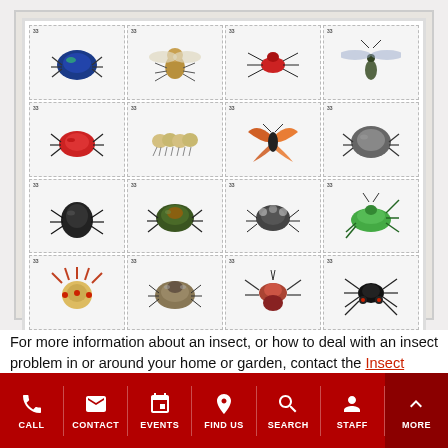[Figure (illustration): A grid of 16 postage stamps, each depicting a different insect: blue beetle, fly, red ant, dragonfly, red leaf beetle, caterpillar, monarch butterfly, dark beetle, black beetle, green metallic beetle, spotted beetle, green grasshopper, spiny bug, cicada, flea/tick, spider with red markings]
For more information about an insect, or how to deal with an insect problem in or around your home or garden, contact the Insect Diagnostic Lab, a program of Cornell Cooperative Extension in the Department of Entomology. For a $25
CALL  CONTACT  EVENTS  FIND US  SEARCH  STAFF  MORE